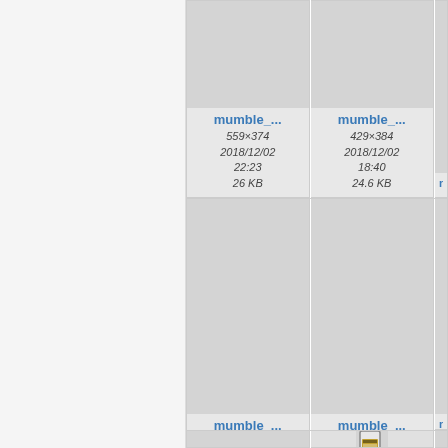[Figure (screenshot): File browser gallery view showing image thumbnails with filenames 'mumble_...' and metadata including dimensions, dates, and file sizes. Left sidebar navigation panel visible. Grid shows 6 thumbnail cards in 3 columns, partially cropped.]
mumble_...
559×374
2018/12/02 22:23
26 KB
mumble_...
429×384
2018/12/02 18:40
24.6 KB
mumble_...
429×384
2018/12/02 18:40
23.6 KB
mumble_...
1333×750
2022/01/20 15:50
45.4 KB